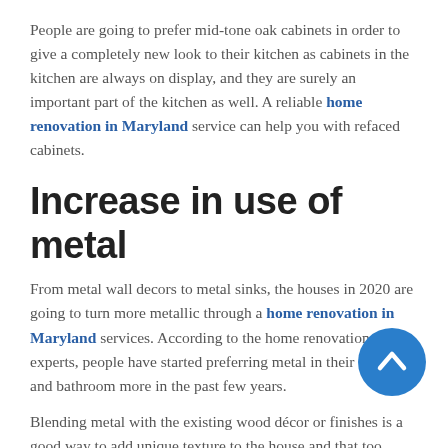People are going to prefer mid-tone oak cabinets in order to give a completely new look to their kitchen as cabinets in the kitchen are always on display, and they are surely an important part of the kitchen as well. A reliable home renovation in Maryland service can help you with refaced cabinets.
Increase in use of metal
From metal wall decors to metal sinks, the houses in 2020 are going to turn more metallic through a home renovation in Maryland services. According to the home renovation experts, people have started preferring metal in their kitchen and bathroom more in the past few years.
Blending metal with the existing wood décor or finishes is a good way to add unique texture to the house and that too, without spending much. Along with this, there are many options when it comes to remodeling related to metals. Proficient home contractors in Maryland will help you